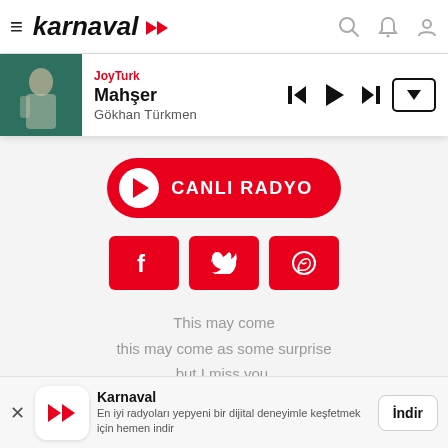karnaval
JoyTurk
Mahşer
Gökhan Türkmen
[Figure (screenshot): Karnaval app music player bar with thumbnail of musician, station name JoyTurk, track Mahşer by Gökhan Türkmen, and playback controls]
[Figure (infographic): CANLI RADYO (Live Radio) red pill-shaped button with white play icon]
[Figure (infographic): Three red social sharing buttons: Facebook, Twitter, WhatsApp]
This may come
this may come as some surprise
but I miss you.
I could see through all of your lies
but still I miss you.
He takes her love
but it doesn't feel like mine
Karnaval
En iyi radyoları yepyeni bir dijital deneyimle keşfetmek için hemen indir
İndir